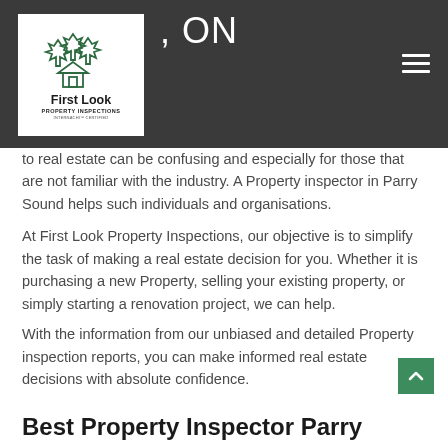[Figure (logo): First Look Property Inspections logo with maple leaf and house silhouette, InterNACHI certified]
, ON
to real estate can be confusing and especially for those that are not familiar with the industry. A Property inspector in Parry Sound helps such individuals and organisations.
At First Look Property Inspections, our objective is to simplify the task of making a real estate decision for you. Whether it is purchasing a new Property, selling your existing property, or simply starting a renovation project, we can help.
With the information from our unbiased and detailed Property inspection reports, you can make informed real estate decisions with absolute confidence.
Best Property Inspector Parry